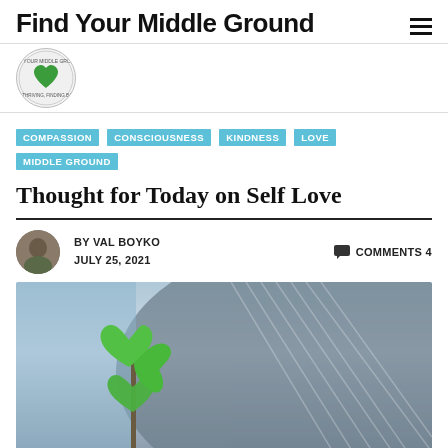Find Your Middle Ground
[Figure (logo): Find Your Middle Ground circular logo with green heart and text around it]
COMPASSION
CONSCIOUSNESS
KINDNESS
LOVE
MIDDLE GROUND
Thought for Today on Self Love
BY VAL BOYKO
JULY 25, 2021
COMMENTS 4
[Figure (photo): A plant with green heart-shaped leaves growing upward against a dramatic sky with rays of light in the background]